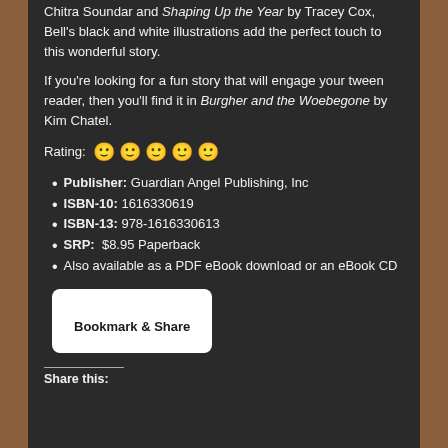Chitra Soundar and Shaping Up the Year by Tracey Cox, Bell's black and white illustrations add the perfect touch to this wonderful story.
If you're looking for a fun story that will engage your tween reader, then you'll find it in Burgher and the Woebegone by Kim Chatel.
Rating: 🙂🙂🙂🙂🙂
Publisher: Guardian Angel Publishing, Inc
ISBN-10: 1616330619
ISBN-13: 978-1616330613
SRP: $8.95 Paperback
Also available as a PDF eBook download or an eBook CD
[Figure (other): Bookmark & Share button — white rounded rectangle with bold black text]
Share this: